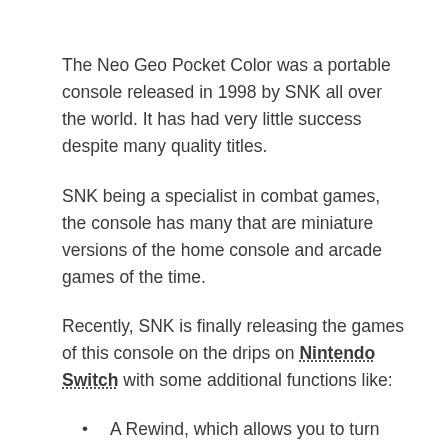The Neo Geo Pocket Color was a portable console released in 1998 by SNK all over the world. It has had very little success despite many quality titles.
SNK being a specialist in combat games, the console has many that are miniature versions of the home console and arcade games of the time.
Recently, SNK is finally releasing the games of this console on the drips on Nintendo Switch with some additional functions like:
A Rewind, which allows you to turn the action back a few seconds to avoid the consequences of a bad action for example